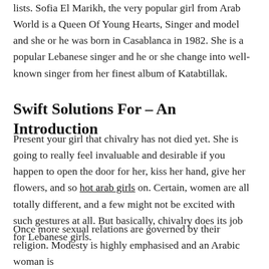lists. Sofia El Marikh, the very popular girl from Arab World is a Queen Of Young Hearts, Singer and model and she or he was born in Casablanca in 1982. She is a popular Lebanese singer and he or she change into well-known singer from her finest album of Katabtillak.
Swift Solutions For – An Introduction
Present your girl that chivalry has not died yet. She is going to really feel invaluable and desirable if you happen to open the door for her, kiss her hand, give her flowers, and so hot arab girls on. Certain, women are all totally different, and a few might not be excited with such gestures at all. But basically, chivalry does its job for Lebanese girls.
Once more sexual relations are governed by their religion. Modesty is highly emphasised and an Arabic woman is